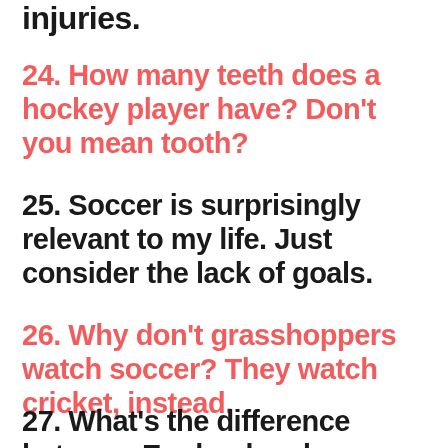injuries.
24. How many teeth does a hockey player have? Don't you mean tooth?
25. Soccer is surprisingly relevant to my life. Just consider the lack of goals.
26. Why don't grasshoppers watch soccer? They watch cricket, instead.
27. What's the difference between England and a teabag? The teabag